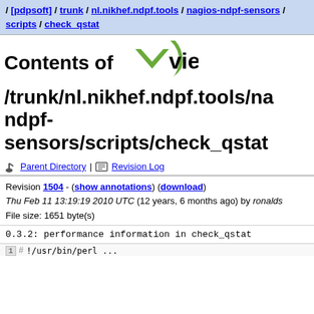/ [pdpsoft] / trunk / nl.nikhef.ndpf.tools / nagios-ndpf-sensors / scripts / check_qstat
Contents of viewvc
/trunk/nl.nikhef.ndpf.tools/nagios-ndpf-sensors/scripts/check_qstat
Parent Directory | Revision Log
Revision 1504 - (show annotations) (download)
Thu Feb 11 13:19:19 2010 UTC (12 years, 6 months ago) by ronalds
File size: 1651 byte(s)
0.3.2: performance information in check_qstat
1  #!/usr/bin/perl ...